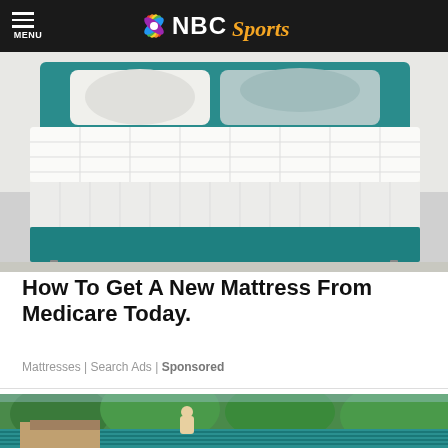MENU | NBC Sports
[Figure (photo): A white pillow-top mattress on a teal/turquoise upholstered bed frame in a bedroom setting]
How To Get A New Mattress From Medicare Today.
Mattresses | Search Ads | Sponsored
[Figure (photo): A person working on a teal metal roof with trees in the background]